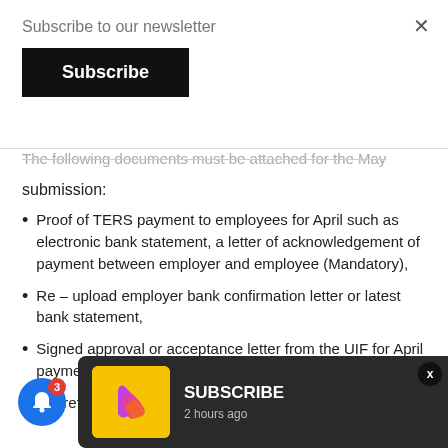Subscribe to our newsletter
Subscribe
The following documents must be attached for the May submission:
Proof of TERS payment to employees for April such as electronic bank statement, a letter of acknowledgement of payment between employer and employee (Mandatory),
Re – upload employer bank confirmation letter or latest bank statement,
Signed approval or acceptance letter from the UIF for April payment
of of refu
[Figure (screenshot): Subscribe notification toast with yellow logo icon showing a stylized arrow/play shape in purple, pink, and orange on yellow background, with text SUBSCRIBE and 2 hours ago]
[Figure (other): Blue circular bell notification button with red badge showing number 3]